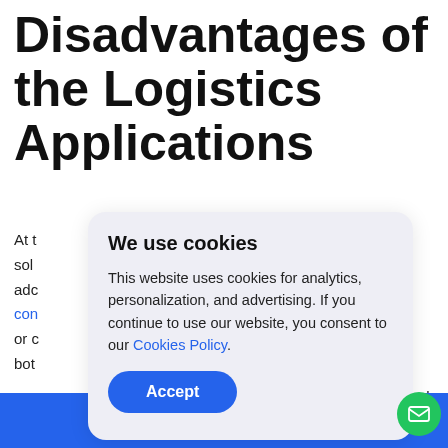Disadvantages of the Logistics Applications
At t
sol
adc
con
or c
both
[Figure (screenshot): Cookie consent modal dialog with title 'We use cookies', body text about analytics, personalization, and advertising cookies, a 'Cookies Policy' link, and an 'Accept' button]